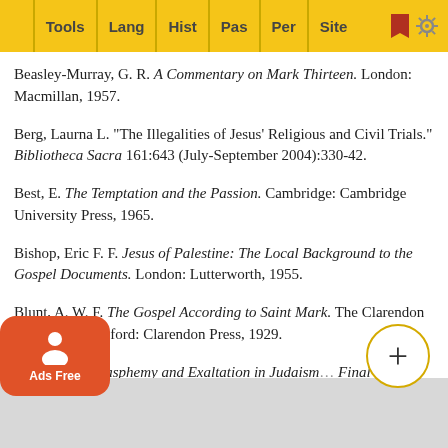Tools | Lang | Hist | Pas | Per | Site
Beasley-Murray, G. R. A Commentary on Mark Thirteen. London: Macmillan, 1957.
Berg, Laurna L. "The Illegalities of Jesus' Religious and Civil Trials." Bibliotheca Sacra 161:643 (July-September 2004):330-42.
Best, E. The Temptation and the Passion. Cambridge: Cambridge University Press, 1965.
Bishop, Eric F. F. Jesus of Palestine: The Local Background to the Gospel Documents. London: Lutterworth, 1955.
Blunt, A. W. F. The Gospel According to Saint Mark. The Clarendon Bible series. Oxford: Clarendon Press, 1929.
Bock, Darrell L. Blasphemy and Exaltation in Judaism and the Final Examination of Jesus: A Philological-Historical Study... 61-64. W...